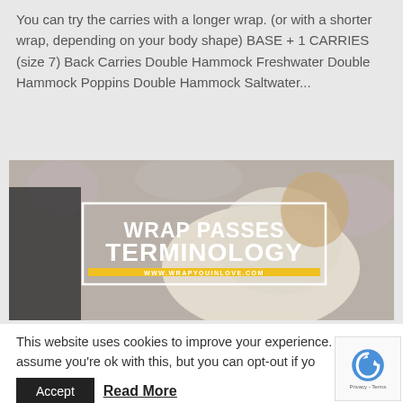You can try the carries with a longer wrap. (or with a shorter wrap, depending on your body shape) BASE + 1 CARRIES (size 7) Back Carries Double Hammock Freshwater Double Hammock Poppins Double Hammock Saltwater...
[Figure (photo): Photo of a person carrying a baby in a wrap, with overlaid text reading 'WRAP PASSES TERMINOLOGY' and website URL www.wrapyouinlove.com on a yellow bar]
This website uses cookies to improve your experience. We'll assume you're ok with this, but you can opt-out if yo